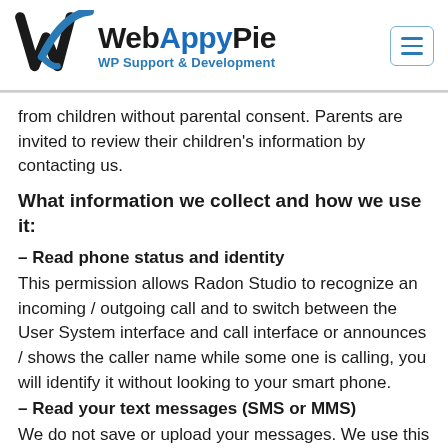[Figure (logo): WebAppyPie logo with checkmark W icon and text 'WebAppyPie WP Support & Development', plus hamburger menu button]
from children without parental consent. Parents are invited to review their children's information by contacting us.
What information we collect and how we use it:
– Read phone status and identity
This permission allows Radon Studio to recognize an incoming / outgoing call and to switch between the User System interface and call interface or announces / shows the caller name while some one is calling, you will identify it without looking to your smart phone.
– Read your text messages (SMS or MMS)
We do not save or upload your messages. We use this